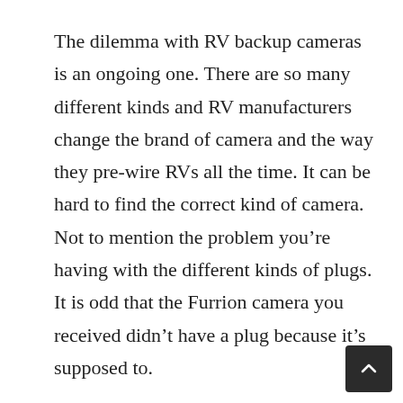The dilemma with RV backup cameras is an ongoing one. There are so many different kinds and RV manufacturers change the brand of camera and the way they pre-wire RVs all the time. It can be hard to find the correct kind of camera. Not to mention the problem you’re having with the different kinds of plugs. It is odd that the Furrion camera you received didn’t have a plug because it’s supposed to.
I know you want a camera with a plug but it sounds like the easiest thing to do would